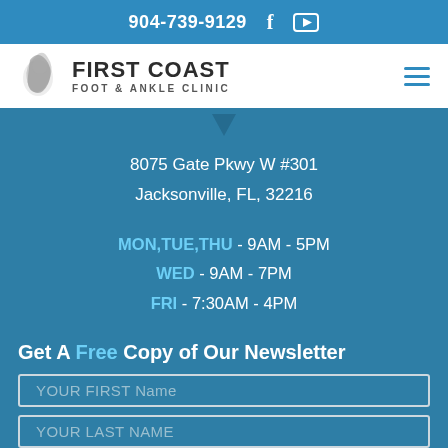904-739-9129
[Figure (logo): First Coast Foot & Ankle Clinic logo with stylized foot icon]
8075 Gate Pkwy W #301
Jacksonville, FL, 32216
MON,TUE,THU - 9AM - 5PM
WED - 9AM - 7PM
FRI - 7:30AM - 4PM
Get A Free Copy of Our Newsletter
YOUR FIRST Name
YOUR LAST NAME